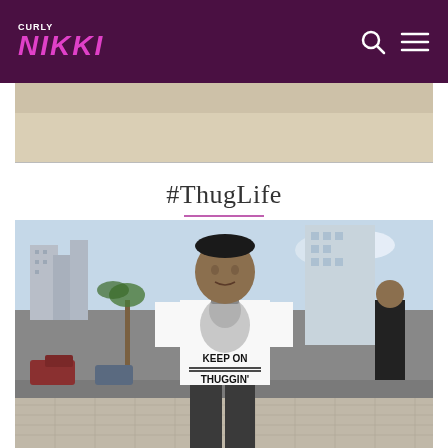CURLY NIKKI
[Figure (photo): Top portion of an image, partially visible at top of page, showing what appears to be a sandy/beige textured surface]
#ThugLife
[Figure (photo): A young man standing on a street in what appears to be Rio de Janeiro (Copacabana area), wearing a white t-shirt with a graphic of Tupac Shakur and text reading 'KEEP ON THUGGIN''. Buildings and palm trees are visible in the background.]